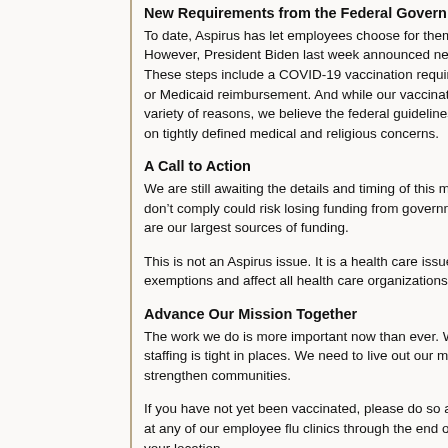New Requirements from the Federal Government
To date, Aspirus has let employees choose for themselves. However, President Biden last week announced new These steps include a COVID-19 vaccination require or Medicaid reimbursement. And while our vaccinatio variety of reasons, we believe the federal guidelines a on tightly defined medical and religious concerns.
A Call to Action
We are still awaiting the details and timing of this ma don’t comply could risk losing funding from governme are our largest sources of funding.
This is not an Aspirus issue. It is a health care issue. exemptions and affect all health care organizations a
Advance Our Mission Together
The work we do is more important now than ever. We staffing is tight in places. We need to live out our mis strengthen communities.
If you have not yet been vaccinated, please do so as at any of our employee flu clinics through the end of ( your location.